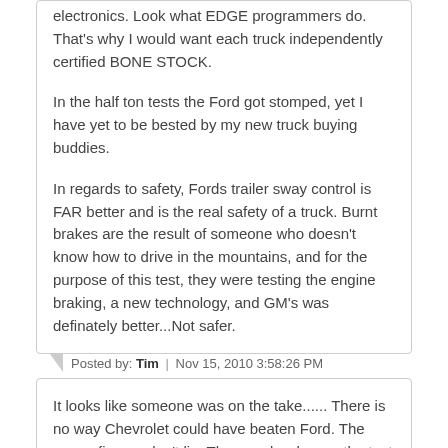electronics. Look what EDGE programmers do. That's why I would want each truck independently certified BONE STOCK.

In the half ton tests the Ford got stomped, yet I have yet to be bested by my new truck buying buddies.

In regards to safety, Fords trailer sway control is FAR better and is the real safety of a truck. Burnt brakes are the result of someone who doesn't know how to drive in the mountains, and for the purpose of this test, they were testing the engine braking, a new technology, and GM's was definately better...Not safer.
Posted by: Tim | Nov 15, 2010 3:58:26 PM
It looks like someone was on the take...... There is no way Chevrolet could have beaten Ford. The power figures don't lie. The people who ran the test lied. Plain and simple!